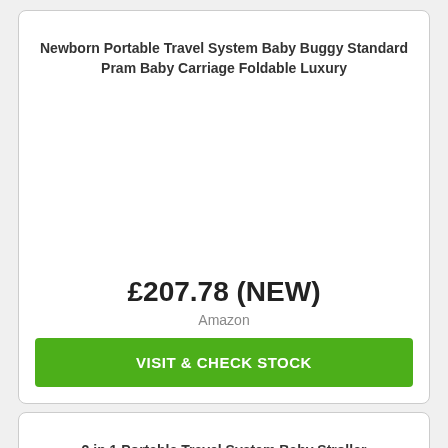Newborn Portable Travel System Baby Buggy Standard Pram Baby Carriage Foldable Luxury
£207.78 (NEW)
Amazon
VISIT & CHECK STOCK
2 in 1 Portable Travel System Baby Stroller